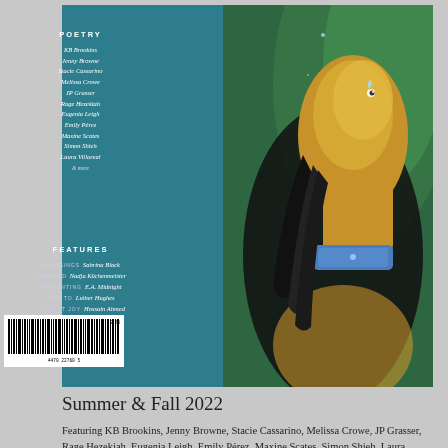[Figure (photo): Literary magazine cover showing a figure with gold-painted skin and a blue gem/collar accessory against a green background, with a teal left panel listing contributors]
POETRY
KB Brookins
Jenny Browne
Stacie Cassarino
Melissa Crowe
JP Grasser
Rage Hezekiah
Eugenia Leigh
Emily Pérez
Maxine Scates
Simon Shieh
Laura Villareal
& more
FEATURES
CROSSINGS Sabrina Black
UNCAGED Nadja Küchenmeister
PRESENTING E.A. Midnight
HOW TO Luther Hughes
I CALL IT JOY Hossain Ahmed
ART
Fox Spears
Summer & Fall 2022
Featuring KB Brookins, Jenny Browne, Stacie Cassarino, Melissa Crowe, JP Grasser, Rage Hezekiah, Eugenia Leigh, Emily Pérez, Maxine Scates, Simon Shieh, Laura Villareal & more